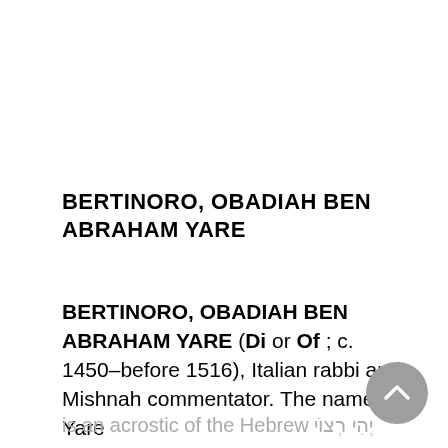BERTINORO, OBADIAH BEN ABRAHAM YARE
BERTINORO, OBADIAH BEN ABRAHAM YARE (Di or Of ; c. 1450–before 1516), Italian rabbi and Mishnah commentator. The name Yare is an acrostic of the Hebrew יְהִי רְצוֹי